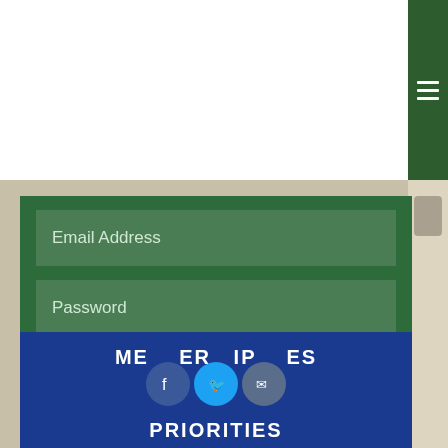[Figure (logo): Michigan Environmental Council logo with Great Lakes map silhouette and blue text]
Email Address
Password
Remember me
POST YOUR COMMENT
or Create an account
MEMBERSHIP PRIORITIES